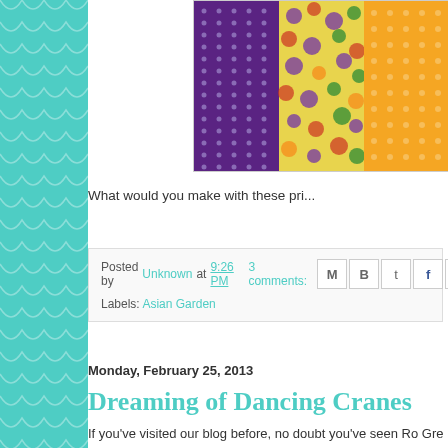[Figure (photo): Three fabric swatches: purple dot pattern, yellow floral pattern, orange dot pattern]
What would you make with these pri...
Posted by Unknown at 9:26 PM   3 comments:
Labels: Asian Garden
Monday, February 25, 2013
Dreaming of Dancing Cranes
If you've visited our blog before, no doubt you've seen Ro Greg... Dancing Cranes fabric line. But unless you have a copy of the winter 201... chances are you've never seen a Dancing Cranes quilt like this...